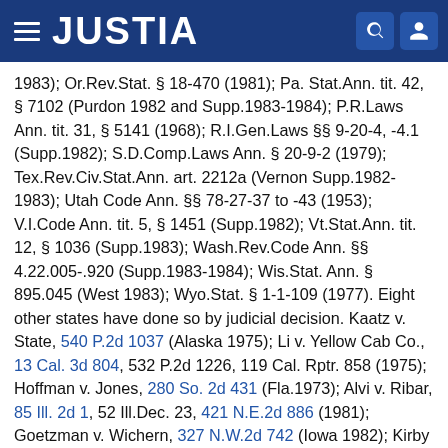JUSTIA
1983); Or.Rev.Stat. § 18-470 (1981); Pa. Stat.Ann. tit. 42, § 7102 (Purdon 1982 and Supp.1983-1984); P.R.Laws Ann. tit. 31, § 5141 (1968); R.I.Gen.Laws §§ 9-20-4, -4.1 (Supp.1982); S.D.Comp.Laws Ann. § 20-9-2 (1979); Tex.Rev.Civ.Stat.Ann. art. 2212a (Vernon Supp.1982-1983); Utah Code Ann. §§ 78-27-37 to -43 (1953); V.I.Code Ann. tit. 5, § 1451 (Supp.1982); Vt.Stat.Ann. tit. 12, § 1036 (Supp.1983); Wash.Rev.Code Ann. §§ 4.22.005-.920 (Supp.1983-1984); Wis.Stat. Ann. § 895.045 (West 1983); Wyo.Stat. § 1-1-109 (1977). Eight other states have done so by judicial decision. Kaatz v. State, 540 P.2d 1037 (Alaska 1975); Li v. Yellow Cab Co., 13 Cal. 3d 804, 532 P.2d 1226, 119 Cal. Rptr. 858 (1975); Hoffman v. Jones, 280 So. 2d 431 (Fla.1973); Alvi v. Ribar, 85 Ill. 2d 1, 52 Ill.Dec. 23, 421 N.E.2d 886 (1981); Goetzman v. Wichern, 327 N.W.2d 742 (Iowa 1982); Kirby v. Larson, 400 Mich. 585, 256 N.W.2d 400 (1977); Scott v. Rizzo, 96 N.M. 682,